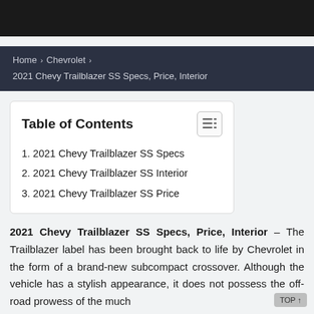Home > Chevrolet > 2021 Chevy Trailblazer SS Specs, Price, Interior
Table of Contents
1. 2021 Chevy Trailblazer SS Specs
2. 2021 Chevy Trailblazer SS Interior
3. 2021 Chevy Trailblazer SS Price
2021 Chevy Trailblazer SS Specs, Price, Interior – The Trailblazer label has been brought back to life by Chevrolet in the form of a brand-new subcompact crossover. Although the vehicle has a stylish appearance, it does not possess the off-road prowess of the much